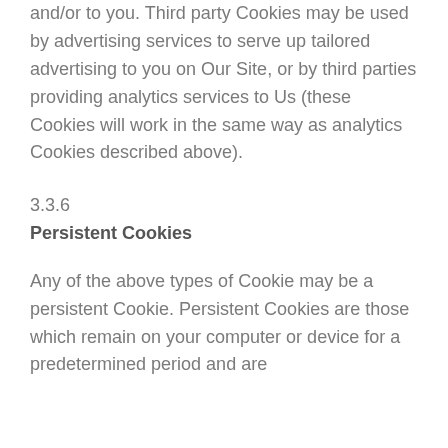and/or to you. Third party Cookies may be used by advertising services to serve up tailored advertising to you on Our Site, or by third parties providing analytics services to Us (these Cookies will work in the same way as analytics Cookies described above).
3.3.6
Persistent Cookies
Any of the above types of Cookie may be a persistent Cookie. Persistent Cookies are those which remain on your computer or device for a predetermined period and are